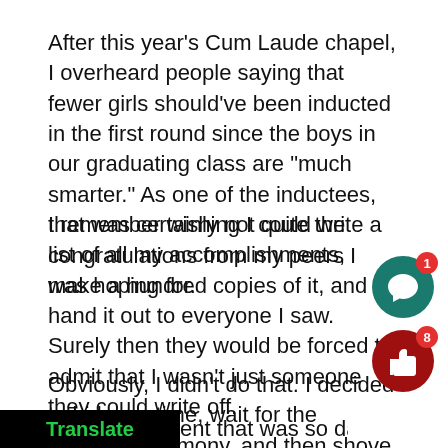After this year's Cum Laude chapel, I overheard people saying that fewer girls should've been inducted in the first round since the boys in our graduating class are "much smarter." As one of the inductees, that was certainly not quite the congratulations from my peers I was hoping for.
I remember wishing I could write a list of all my accomplishments, make a hundred copies of it, and hand it out to everyone I saw. Surely then they would be forced to admit that I wasn't just someone they could write off.
Obviously, I didn't do that. I decided to bide my time, wait for the pennant ceremony, and then shove it everyone's face when I went to an impressive college.
ent that was so damaging to the